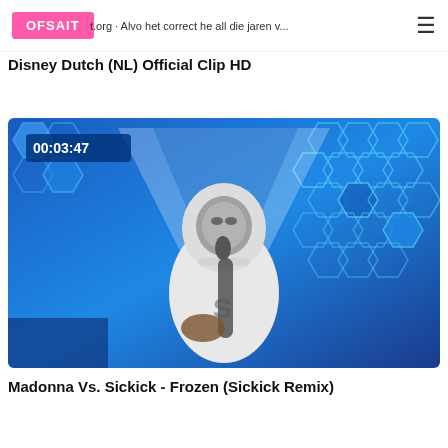OFSAIT
Disney Dutch (NL) Official Clip HD
[Figure (screenshot): Video thumbnail showing a performer in a white hoodie with a mask, holding a microphone, against a blue hexagonal light background. Timestamp overlay shows 00:03:47.]
Madonna Vs. Sickick - Frozen (Sickick Remix)